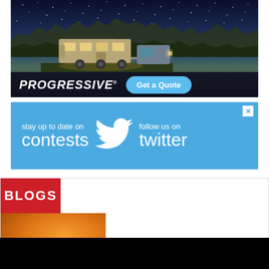[Figure (photo): Progressive insurance advertisement showing an RV/fifth-wheel trailer parked under a starry night sky with rock formations in the background. Bottom bar shows 'PROGRESSIVE' logo and 'Get a Quote' button in blue.]
[Figure (photo): Twitter social media advertisement on blue background with text 'stay up to date on contests' and 'follow us on twitter' with Twitter bird logo in white.]
[Figure (photo): Blogs section header with red background and white 'BLOGS' text, with an orange blog thumbnail image below showing a partial circular Garmin-style logo.]